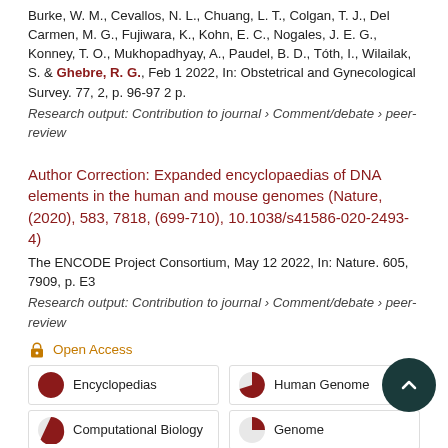Burke, W. M., Cevallos, N. L., Chuang, L. T., Colgan, T. J., Del Carmen, M. G., Fujiwara, K., Kohn, E. C., Nogales, J. E. G., Konney, T. O., Mukhopadhyay, A., Paudel, B. D., Tóth, I., Wilailak, S. & Ghebre, R. G., Feb 1 2022, In: Obstetrical and Gynecological Survey. 77, 2, p. 96-97 2 p.
Research output: Contribution to journal › Comment/debate › peer-review
Author Correction: Expanded encyclopaedias of DNA elements in the human and mouse genomes (Nature, (2020), 583, 7818, (699-710), 10.1038/s41586-020-2493-4)
The ENCODE Project Consortium, May 12 2022, In: Nature. 605, 7909, p. E3
Research output: Contribution to journal › Comment/debate › peer-review
Open Access
| 100% Encyclopedias | 90% Human Genome |
| 80% Computational Biology | 50% Genome |